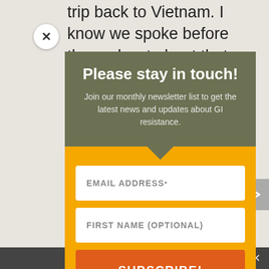trip back to Vietnam. I know we spoke before the podcast about that being
Please stay in touch!
Join our monthly newsletter list to get the latest news and updates about GI resistance.
EMAIL ADDRESS *
FIRST NAME (OPTIONAL)
SUBSCRIBE!
Don't miss our action alerts to support wa
Share This